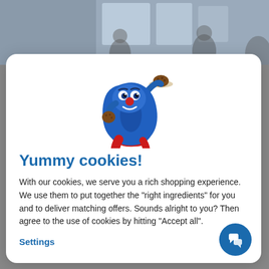[Figure (photo): Background photo showing people in a room, partially obscured by modal overlay]
[Figure (illustration): Cartoon mascot character - blue figure shaped like a zero/digit with red cape and arms, eating a cookie while holding a plate with more cookies]
Yummy cookies!
With our cookies, we serve you a rich shopping experience. We use them to put together the "right ingredients" for you and to deliver matching offers. Sounds alright to you? Then agree to the use of cookies by hitting "Accept all".
Settings